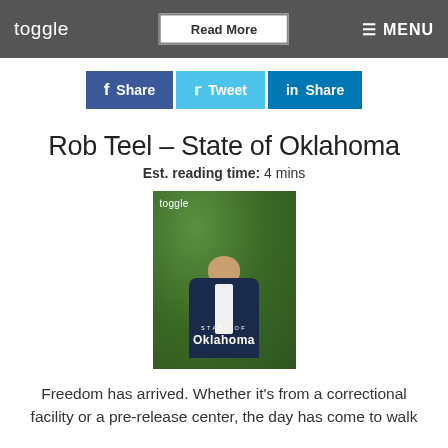toggle   Read More   ≡ MENU
[Figure (infographic): Social share buttons: Facebook Share, Twitter Tweet, LinkedIn Share]
Rob Teel – State of Oklahoma
Est. reading time: 4 mins
[Figure (photo): Magazine cover image: Toggle magazine cover featuring Rob Teel with green foliage background, text reads 'toggle', 'STATE OF Oklahoma']
Freedom has arrived. Whether it's from a correctional facility or a pre-release center, the day has come to walk